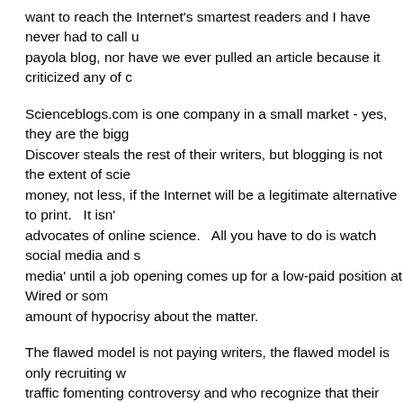want to reach the Internet's smartest readers and I have never had to call up payola blog, nor have we ever pulled an article because it criticized any of c
Scienceblogs.com is one company in a small market - yes, they are the bigg Discover steals the rest of their writers, but blogging is not the extent of scie money, not less, if the Internet will be a legitimate alternative to print. It isn' advocates of online science. All you have to do is watch social media and s media' until a job opening comes up for a low-paid position at Wired or som amount of hypocrisy about the matter.
The flawed model is not paying writers, the flawed model is only recruiting w traffic fomenting controversy and who recognize that their traffic has value t telling them the money comes from some magical place. And also fostering scientists are eeeeevil but wholesome academic bloggers and PIOs for non
Don't get me wrong, I am not defending what Seed Media CEO Adam Bly d spiked critical of potential advertisers he lost all credibility here, despite my silly to contend people cannot be paid lest they lose their ethical senses. B so to think they are immune from pressure because taxpayers support that well, if you have watched BBC news coverage for any length of time you ha